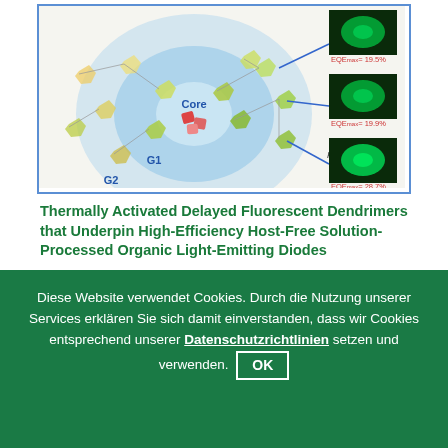[Figure (illustration): Scientific illustration showing dendrimer structure with Core, G1, G2 labels, connected to photos of OLEDs with Para-, Meta-, and Para-+Meta- configurations showing EQE values (19.5%, 19.9%, 28.7%)]
Thermally Activated Delayed Fluorescent Dendrimers that Underpin High-Efficiency Host-Free Solution-Processed Organic Light-Emitting Diodes
Dianming Sun, Eimantas Duda, Xiaochun Fan, Rishabh Saxena, Ming Zhang, Sergey Bagnich, Xiaohong Zhang, Anna Köhler and Eli Zysman-Colman
Adv.Mater. (2022) 2110344
Diese Website verwendet Cookies. Durch die Nutzung unserer Services erklären Sie sich damit einverstanden, dass wir Cookies entsprechend unserer Datenschutzrichtlinien setzen und verwenden. OK